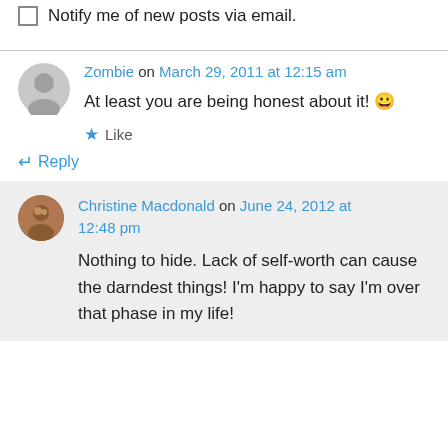Notify me of new posts via email.
Zombie on March 29, 2011 at 12:15 am
At least you are being honest about it! 😀
★ Like
↵ Reply
Christine Macdonald on June 24, 2012 at 12:48 pm
Nothing to hide. Lack of self-worth can cause the darndest things! I'm happy to say I'm over that phase in my life!